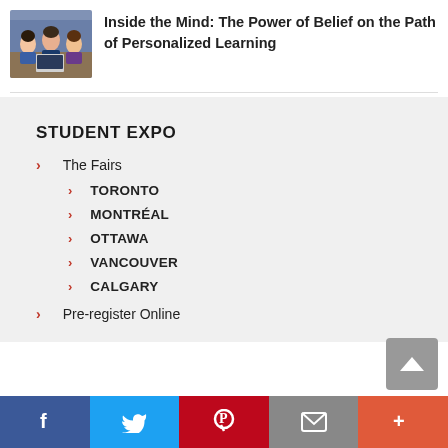[Figure (photo): Students sitting together at a table, studying or collaborating, viewed from slightly above.]
Inside the Mind: The Power of Belief on the Path of Personalized Learning
STUDENT EXPO
The Fairs
TORONTO
MONTRÉAL
OTTAWA
VANCOUVER
CALGARY
Pre-register Online